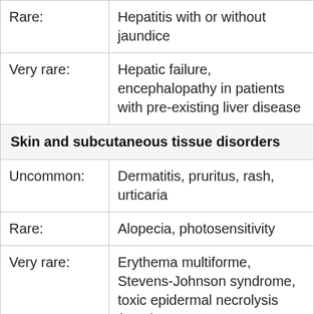| Frequency | Adverse Effect |
| --- | --- |
| Rare: | Hepatitis with or without jaundice |
| Very rare: | Hepatic failure, encephalopathy in patients with pre-existing liver disease |
| Skin and subcutaneous tissue disorders |  |
| Uncommon: | Dermatitis, pruritus, rash, urticaria |
| Rare: | Alopecia, photosensitivity |
| Very rare: | Erythema multiforme, Stevens-Johnson syndrome, toxic epidermal necrolysis (TEN) |
| Not known | Subacute cutaneous lupus erythematosus |